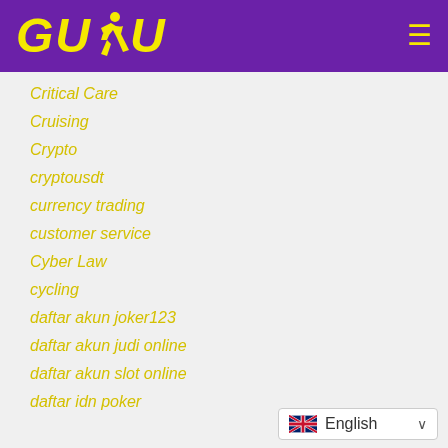[Figure (logo): GUDU logo with runner icon on purple header background, yellow text]
Critical Care
Cruising
Crypto
cryptousdt
currency trading
customer service
Cyber Law
cycling
daftar akun joker123
daftar akun judi online
daftar akun slot online
daftar idn poker